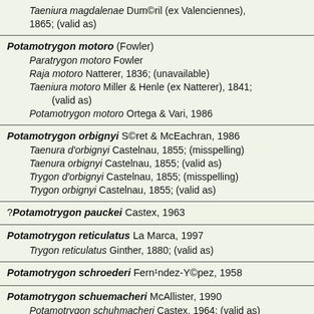Taeniura magdalenae Duméril (ex Valenciennes), 1865; (valid as)
Potamotrygon motoro (Fowler)
  Paratrygon motoro Fowler
  Raja motoro Natterer, 1836; (unavailable)
  Taeniura motoro Miller & Henle (ex Natterer), 1841; (valid as)
  Potamotrygon motoro Ortega & Vari, 1986
Potamotrygon orbignyi Séret & McEachran, 1986
  Taenura d'orbignyi Castelnau, 1855; (misspelling)
  Taenura orbignyi Castelnau, 1855; (valid as)
  Trygon d'orbignyi Castelnau, 1855; (misspelling)
  Trygon orbignyi Castelnau, 1855; (valid as)
?Potamotrygon pauckei Castex, 1963
Potamotrygon reticulatus La Marca, 1997
  Trygon reticulatus Ginther, 1880; (valid as)
Potamotrygon schroederi Fernández-Yépez, 1958
Potamotrygon schuemacheri McAllister, 1990
  Potamotrygon schuhmacheri Castex, 1964; (valid as)